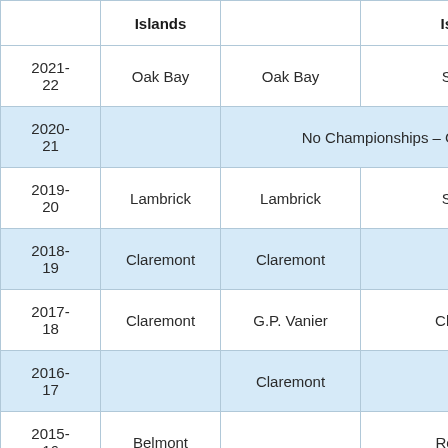|  | Islands |  | Isla… |
| --- | --- | --- | --- |
| 2021-22 | Oak Bay | Oak Bay | SM… |
| 2020-21 |  | No Championships – Co… |  |
| 2019-20 | Lambrick | Lambrick | SM… |
| 2018-19 | Claremont | Claremont | P… |
| 2017-18 | Claremont | G.P. Vanier | Clare… |
| 2016-17 |  | Claremont |  |
| 2015-16 | Belmont |  | Roya… |